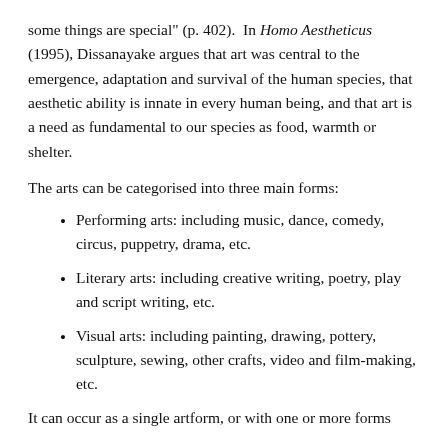some things are special" (p. 402).  In Homo Aestheticus (1995), Dissanayake argues that art was central to the emergence, adaptation and survival of the human species, that aesthetic ability is innate in every human being, and that art is a need as fundamental to our species as food, warmth or shelter.
The arts can be categorised into three main forms:
Performing arts: including music, dance, comedy, circus, puppetry, drama, etc.
Literary arts: including creative writing, poetry, play and script writing, etc.
Visual arts: including painting, drawing, pottery, sculpture, sewing, other crafts, video and film-making, etc.
It can occur as a single artform, or with one or more forms